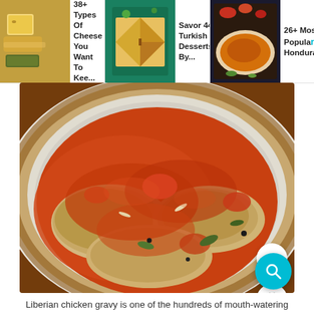[Figure (screenshot): Navigation bar with three article thumbnails: '38+ Types Of Cheese You Want To Kee...', 'Savor 44 Turkish Desserts By...', '26+ Most Popular Honduran...']
[Figure (photo): Close-up photo of Liberian chicken gravy on a decorated plate with orange/red tomato-based sauce, served on a patterned dish with Greek key border design. Overlay UI buttons: up-arrow, heart/save, and teal search button. Badge showing '366'.]
Liberian chicken gravy is one of the hundreds of mouth-watering dishes you can find here.